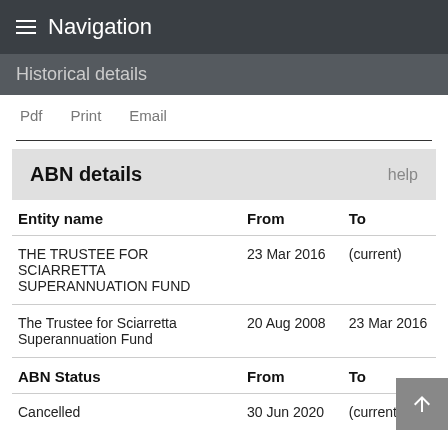Navigation
Historical details
Pdf   Print   Email
| Entity name | From | To |
| --- | --- | --- |
| THE TRUSTEE FOR SCIARRETTA SUPERANNUATION FUND | 23 Mar 2016 | (current) |
| The Trustee for Sciarretta Superannuation Fund | 20 Aug 2008 | 23 Mar 2016 |
| ABN Status | From | To |
| --- | --- | --- |
| Cancelled | 30 Jun 2020 | (current) |